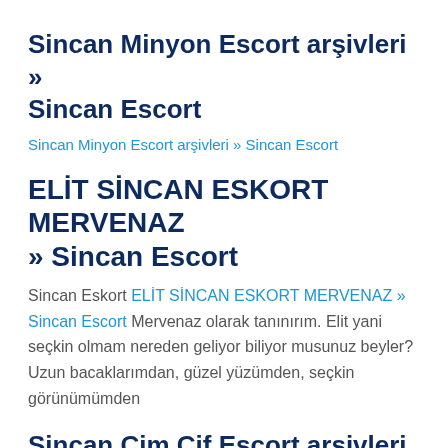Sincan Minyon Escort arşivleri » Sincan Escort
Sincan Minyon Escort arşivleri » Sincan Escort
ELİT SİNCAN ESKORT MERVENAZ » Sincan Escort
Sincan Eskort ELİT SİNCAN ESKORT MERVENAZ » Sincan Escort Mervenaz olarak tanınırım. Elit yani seçkin olmam nereden geliyor biliyor musunuz beyler? Uzun bacaklarımdan, güzel yüzümden, seçkin görünümümden
Sincan Cim Cif Escort arşivleri » Sincan Escort